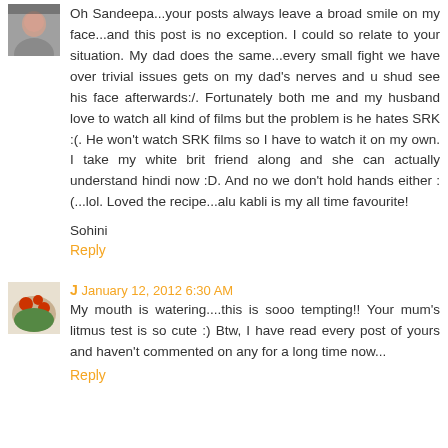[Figure (photo): Small avatar photo of a woman]
Oh Sandeepa...your posts always leave a broad smile on my face...and this post is no exception. I could so relate to your situation. My dad does the same...every small fight we have over trivial issues gets on my dad's nerves and u shud see his face afterwards:/. Fortunately both me and my husband love to watch all kind of films but the problem is he hates SRK :(. He won't watch SRK films so I have to watch it on my own. I take my white brit friend along and she can actually understand hindi now :D. And no we don't hold hands either :(...lol. Loved the recipe...alu kabli is my all time favourite!
Sohini
Reply
[Figure (photo): Small avatar photo with food/tomatoes]
J January 12, 2012 6:30 AM
My mouth is watering....this is sooo tempting!! Your mum's litmus test is so cute :) Btw, I have read every post of yours and haven't commented on any for a long time now...
Reply